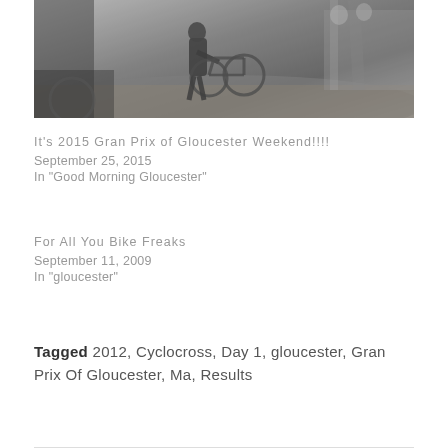[Figure (photo): Black and white photograph of a cyclist carrying a bicycle, possibly during a cyclocross race, with spectators and sandy/muddy terrain visible]
It's 2015 Gran Prix of Gloucester Weekend!!!!
September 25, 2015
In "Good Morning Gloucester"
For All You Bike Freaks
September 11, 2009
In "gloucester"
Tagged 2012, Cyclocross, Day 1, gloucester, Gran Prix Of Gloucester, Ma, Results